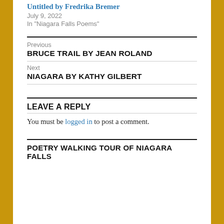Untitled by Fredrika Bremer
July 9, 2022
In "Niagara Falls Poems"
Previous
BRUCE TRAIL BY JEAN ROLAND
Next
NIAGARA BY KATHY GILBERT
LEAVE A REPLY
You must be logged in to post a comment.
POETRY WALKING TOUR OF NIAGARA FALLS